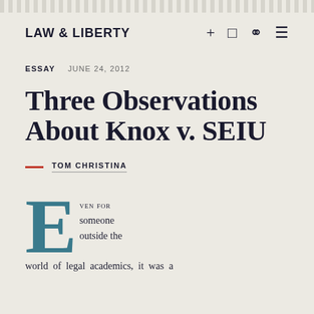LAW & LIBERTY
ESSAY   JUNE 24, 2012
Three Observations About Knox v. SEIU
TOM CHRISTINA
Even for someone outside the world of legal academics, it was a...